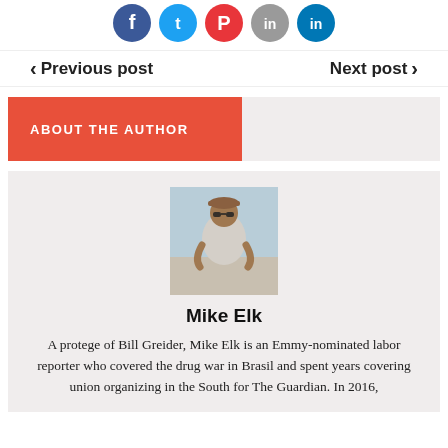[Figure (other): Row of five social media icon circles: Facebook (dark blue), Twitter (light blue), Pinterest/red circle, Instagram (gray), LinkedIn (dark blue)]
< Previous post    Next post >
ABOUT THE AUTHOR
[Figure (photo): Photo of Mike Elk wearing a cap and sunglasses, seated outdoors, wearing a light cardigan]
Mike Elk
A protege of Bill Greider, Mike Elk is an Emmy-nominated labor reporter who covered the drug war in Brasil and spent years covering union organizing in the South for The Guardian. In 2016,